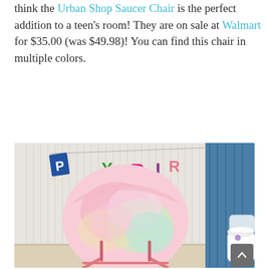think the Urban Shop Saucer Chair is the perfect addition to a teen's room! They are on sale at Walmart for $35.00 (was $49.98)! You can find this chair in multiple colors.
[Figure (photo): A pastel rainbow tie-dye saucer/moon chair with pink metal folding legs, set in a child's room decorated with a colorful 'HAPPY BIRTHDAY' letter banner on the wall, a blue curtain on the right, and a white storage basket.]